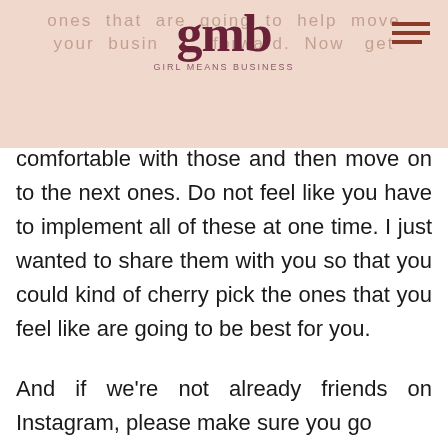ones that are going to help move your business forward. Now get
[Figure (logo): GMB Girl Means Business logo with decorative serif lettering and hamburger menu icon]
comfortable with those and then move on to the next ones. Do not feel like you have to implement all of these at one time. I just wanted to share them with you so that you could kind of cherry pick the ones that you feel like are going to be best for you.
And if we're not already friends on Instagram, please make sure you go